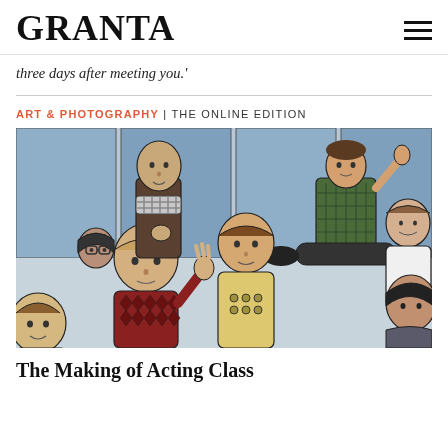GRANTA
three days after meeting you.'
ART & PHOTOGRAPHY | THE ONLINE EDITION
[Figure (illustration): Illustration of a group of people sitting on a floor in a room with blue walls, as if in an acting class or group session. Several figures are visible: a bald man in a checked scarf, a person with glasses, a person in a yellow t-shirt, a person in a dark plaid shirt sitting against the wall with legs outstretched, a person in a white t-shirt, a person with dark hair on the right, and partially visible figures at the bottom.]
The Making of Acting Class